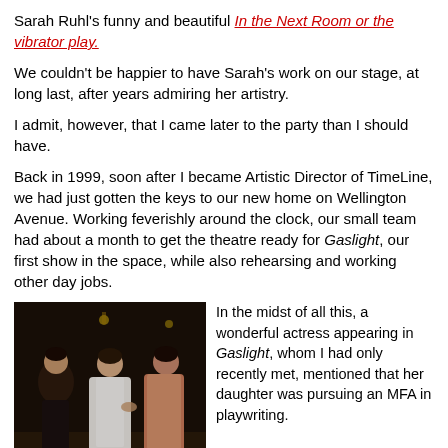Sarah Ruhl's funny and beautiful In the Next Room or the vibrator play.
We couldn't be happier to have Sarah's work on our stage, at long last, after years admiring her artistry.
I admit, however, that I came later to the party than I should have.
Back in 1999, soon after I became Artistic Director of TimeLine, we had just gotten the keys to our new home on Wellington Avenue. Working feverishly around the clock, our small team had about a month to get the theatre ready for Gaslight, our first show in the space, while also rehearsing and working other day jobs.
[Figure (photo): A theatrical scene from Gaslight showing three performers on stage — a man in dark Victorian attire on the left, a woman in a white dress in the center, and a woman in a pink dress on the right.]
In the midst of all this, a wonderful actress appearing in Gaslight, whom I had only recently met, mentioned that her daughter was pursuing an MFA in playwriting.